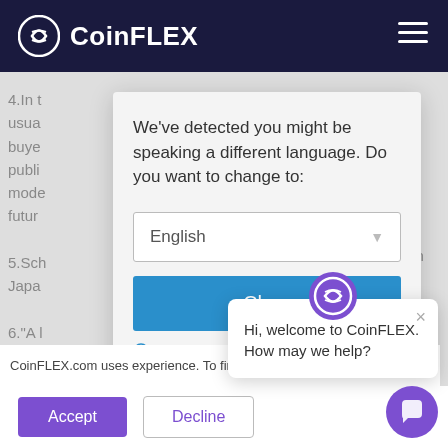CoinFLEX
4.In t
usua
buye
publi
mode
futur
ween
riod
We've detected you might be speaking a different language. Do you want to change to:
English
Change
Close and de
CoinFLEX.com uses experience. To find c use, see our Privacy Policy.
Hi, welcome to CoinFLEX. How may we help?
Accept
Decline